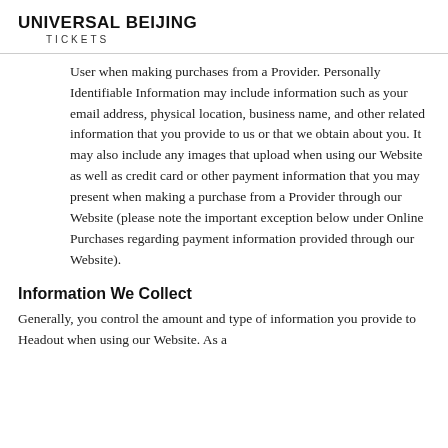UNIVERSAL BEIJING TICKETS
User when making purchases from a Provider. Personally Identifiable Information may include information such as your email address, physical location, business name, and other related information that you provide to us or that we obtain about you. It may also include any images that upload when using our Website as well as credit card or other payment information that you may present when making a purchase from a Provider through our Website (please note the important exception below under Online Purchases regarding payment information provided through our Website).
Information We Collect
Generally, you control the amount and type of information you provide to Headout when using our Website. As a